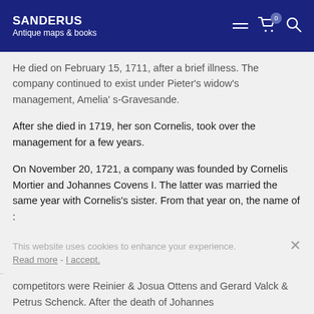SANDERUS
Antique maps & books
He died on February 15, 1711, after a brief illness. The company continued to exist under Pieter's widow's management, Amelia' s-Gravesande.
After she died in 1719, her son Cornelis, took over the management for a few years.
On November 20, 1721, a company was founded by Cornelis Mortier and Johannes Covens I. The latter was married the same year with Cornelis's sister. From that year on, the name of :
Covens & Mortier
This website uses cookies to enhance your experience.
Read more - I accept.
competitors were Reinier & Josua Ottens and Gerard Valck & Petrus Schenck. After the death of Johannes